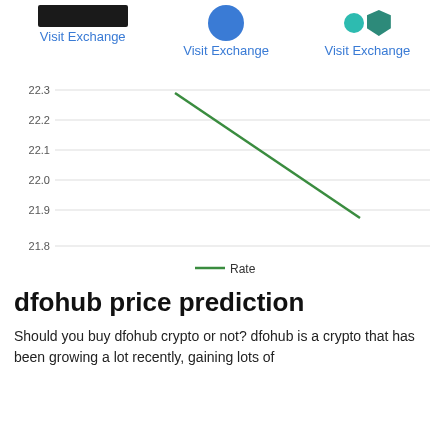[Figure (other): Three exchange logos with Visit Exchange links below each: a black banner logo, a blue circle logo, and a teal/dark-teal paired shape logo]
[Figure (line-chart): ]
dfohub price prediction
Should you buy dfohub crypto or not? dfohub is a crypto that has been growing a lot recently, gaining lots of